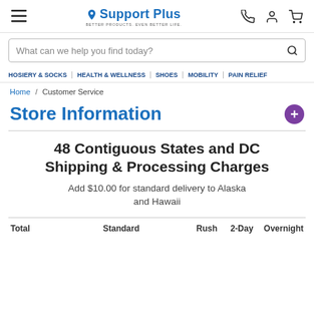Support Plus — Better Products. Even Better Life.
What can we help you find today?
HOSIERY & SOCKS | HEALTH & WELLNESS | SHOES | MOBILITY | PAIN RELIEF
Home / Customer Service
Store Information
48 Contiguous States and DC Shipping & Processing Charges
Add $10.00 for standard delivery to Alaska and Hawaii
| Total | Standard | Rush | 2-Day | Overnight |
| --- | --- | --- | --- | --- |